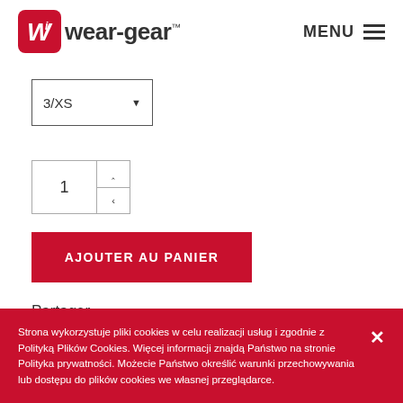[Figure (logo): wear-gear logo with red icon and brand name]
[Figure (other): Menu icon with three horizontal lines]
[Figure (other): Size dropdown selector showing 3/XS]
[Figure (other): Quantity spinner showing value 1 with up/down arrows]
AJOUTER AU PANIER
Partager
Strona wykorzystuje pliki cookies w celu realizacji usług i zgodnie z Polityką Plików Cookies. Więcej informacji znajdą Państwo na stronie Polityka prywatności. Możecie Państwo określić warunki przechowywania lub dostępu do plików cookies we własnej przeglądarce.